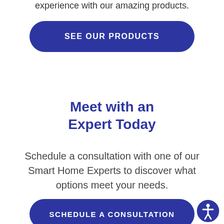experience with our amazing products.
[Figure (other): Blue rounded rectangle button labeled SEE OUR PRODUCTS]
Meet with an Expert Today
Schedule a consultation with one of our Smart Home Experts to discover what options meet your needs.
[Figure (other): Blue rounded rectangle button labeled SCHEDULE A CONSULTATION]
[Figure (other): Circular accessibility icon button with person figure, bottom-right corner]